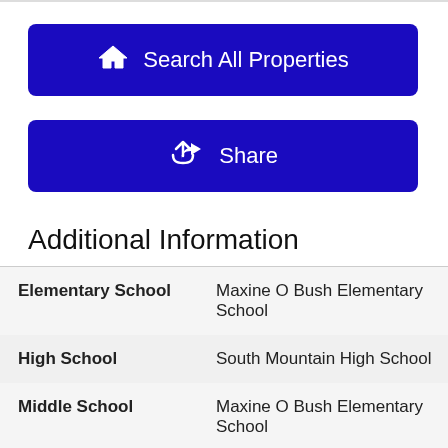[Figure (other): Blue button with house icon and text 'Search All Properties']
[Figure (other): Blue button with share icon and text 'Share']
Additional Information
| Elementary School | Maxine O Bush Elementary School |
| High School | South Mountain High School |
| Middle School | Maxine O Bush Elementary School |
| School District | 210 - Phoenix Union High School District |